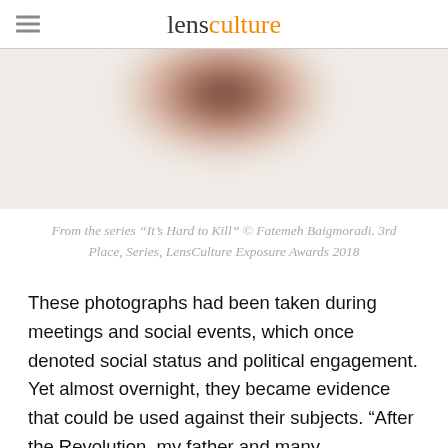lensculture
[Figure (photo): Blurred/abstract close-up photograph with dark rose and brown tones, cropped at top, from the series 'It's Hard to Kill']
From the series “It’s Hard to Kill” © Fatemeh Baigmoradi. 3rd Place, Series, LensCulture Exposure Awards 2018
These photographs had been taken during meetings and social events, which once denoted social status and political engagement. Yet almost overnight, they became evidence that could be used against their subjects. “After the Revolution, my father and many